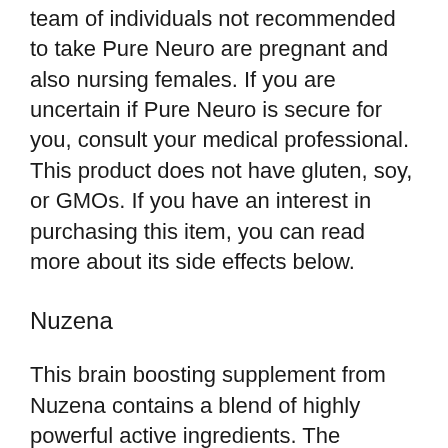team of individuals not recommended to take Pure Neuro are pregnant and also nursing females. If you are uncertain if Pure Neuro is secure for you, consult your medical professional. This product does not have gluten, soy, or GMOs. If you have an interest in purchasing this item, you can read more about its side effects below.
Nuzena
This brain boosting supplement from Nuzena contains a blend of highly powerful active ingredients. The formula sustains optimal brain feature with loads of vitamins and minerals. It also includes components such as DMAE bitartrate, glutamic acid, spirulina flakes, green tea essence, choline, and also